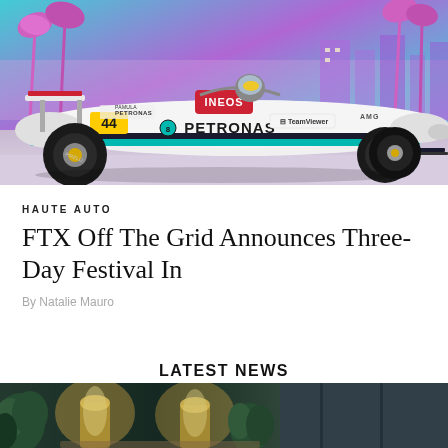[Figure (photo): Mercedes-AMG Petronas F1 car (number 44, Lewis Hamilton) in front of a colorful Miami-themed background with palm trees and purple/teal colors. Car shows INEOS, TeamViewer, PETRONAS branding.]
HAUTE AUTO
FTX Off The Grid Announces Three-Day Festival In
By Natalie Mauro
LATEST NEWS
[Figure (photo): Bottom portion of an image showing a bar or restaurant setting with warm lighting and plants.]